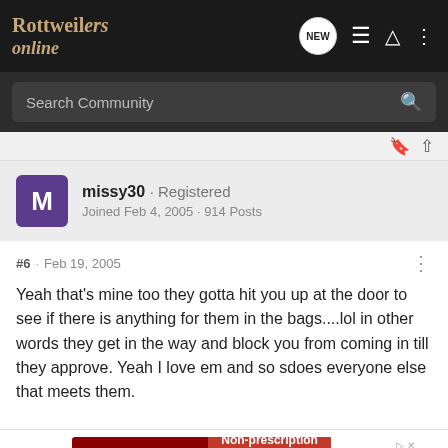Rottweilers online
Search Community
missy30 · Registered
Joined Feb 4, 2005 · 914 Posts
#6 · Feb 19, 2005
Yeah that's mine too they gotta hit you up at the door to see if there is anything for them in the bags....lol in other words they get in the way and block you from coming in till they approve. Yeah I love em and so sdoes everyone else that meets them.
[Figure (screenshot): K9 Advantix II advertisement banner: dark red background with product name, 'Non-prescription flea, tick and mosquito protection.' text, and PetSmart logo with 'Buy now' call to action.]